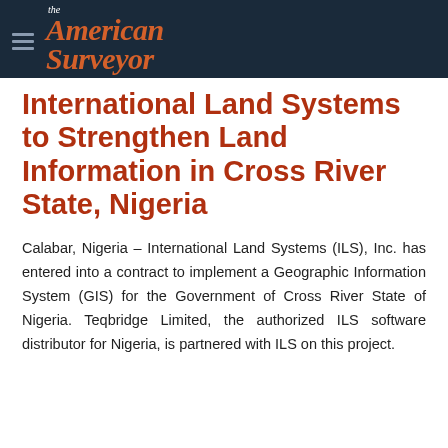the American Surveyor
International Land Systems to Strengthen Land Information in Cross River State, Nigeria
Calabar, Nigeria – International Land Systems (ILS), Inc. has entered into a contract to implement a Geographic Information System (GIS) for the Government of Cross River State of Nigeria. Teqbridge Limited, the authorized ILS software distributor for Nigeria, is partnered with ILS on this project.